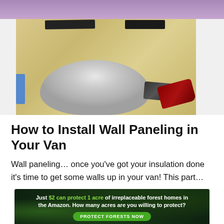[Figure (photo): Interior of a van being converted, showing plywood wall paneling installed, a metal wheel arch hump in the center, power drills on the floor, black tape strips along the top, and blue painter's tape on the left side. The van walls are white on the sides.]
How to Install Wall Paneling in Your Van
Wall paneling… once you've got your insulation done it's time to get some walls up in your van! This part…
[Figure (infographic): Advertisement banner with dark forest background. Text reads: 'Just $2 can protect 1 acre of irreplaceable forest homes in the Amazon. How many acres are you willing to protect?' with a green 'PROTECT FORESTS NOW' button.]